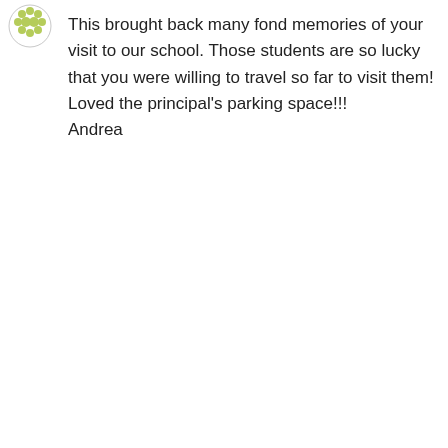[Figure (illustration): User avatar icon with green dotted/paw pattern]
This brought back many fond memories of your visit to our school. Those students are so lucky that you were willing to travel so far to visit them! Loved the principal's parking space!!!
Andrea
Like
Reply
[Figure (photo): Small circular user avatar photo of lenorelook]
lenorelook on January 28, 2013 at 11:44 pm
Oh, I LOVED my visit to Graham Elementary!!! Please tell all your little darlings I said Hi! I hope they’re still keeping their writing journals!